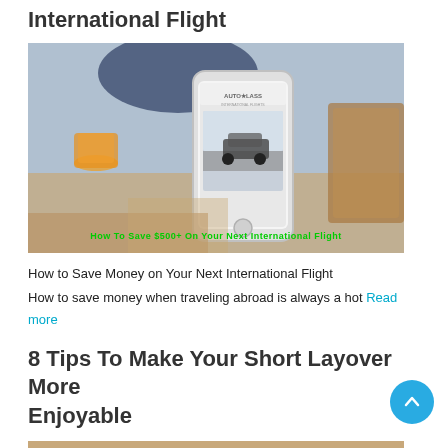International Flight
[Figure (photo): Person holding a smartphone displaying an auto-related app screen, with a glass of orange juice and items on a table in the background. Green text overlay reads: How To Save $500+ On Your Next International Flight]
How to Save Money on Your Next International Flight
How to save money when traveling abroad is always a hot Read more
8 Tips To Make Your Short Layover More Enjoyable
[Figure (photo): Partial view of a photo related to the layover article]